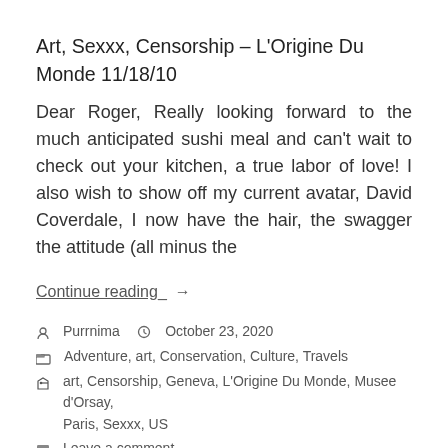Art, Sexxx, Censorship – L'Origine Du Monde 11/18/10
Dear Roger, Really looking forward to the much anticipated sushi meal and can't wait to check out your kitchen, a true labor of love! I also wish to show off my current avatar, David Coverdale, I now have the hair, the swagger the attitude (all minus the
Continue reading →
Purrnima   October 23, 2020
Adventure, art, Conservation, Culture, Travels
art, Censorship, Geneva, L'Origine Du Monde, Musee d'Orsay, Paris, Sexxx, US
Leave a comment